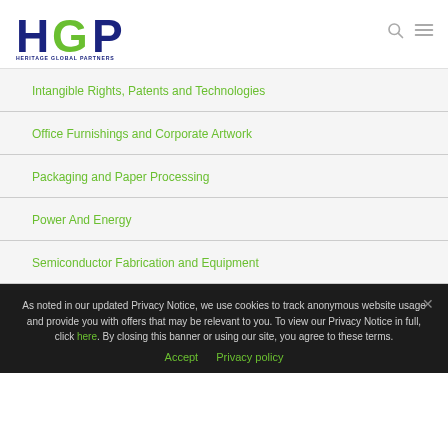HGP Heritage Global Partners
Intangible Rights, Patents and Technologies
Office Furnishings and Corporate Artwork
Packaging and Paper Processing
Power And Energy
Semiconductor Fabrication and Equipment
As noted in our updated Privacy Notice, we use cookies to track anonymous website usage and provide you with offers that may be relevant to you. To view our Privacy Notice in full, click here. By closing this banner or using our site, you agree to these terms.
Accept  Privacy policy